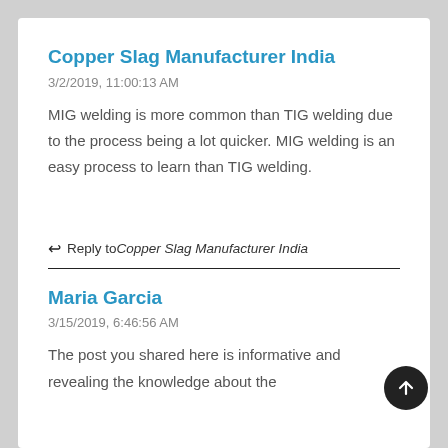Copper Slag Manufacturer India
3/2/2019, 11:00:13 AM
MIG welding is more common than TIG welding due to the process being a lot quicker. MIG welding is an easy process to learn than TIG welding.
↩ Reply to Copper Slag Manufacturer India
Maria Garcia
3/15/2019, 6:46:56 AM
The post you shared here is informative and revealing the knowledge about the